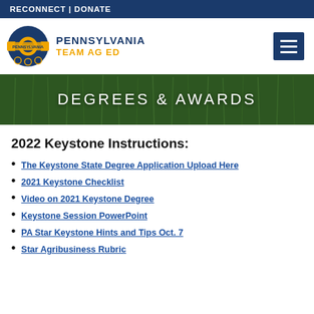RECONNECT | DONATE
[Figure (logo): Pennsylvania FFA Team Ag Ed logo with FFA emblem and text 'PENNSYLVANIA TEAM AG ED']
DEGREES & AWARDS
2022 Keystone Instructions:
The Keystone State Degree Application Upload Here
2021 Keystone Checklist
Video on 2021 Keystone Degree
Keystone Session PowerPoint
PA Star Keystone Hints and Tips Oct. 7
Star Agribusiness Rubric